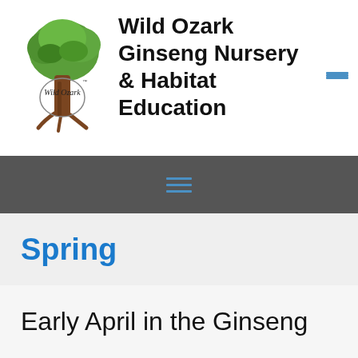[Figure (logo): Wild Ozark illustrated logo featuring a large tree with green foliage and brown trunk, with cursive text 'Wild Ozark' and TM mark]
Wild Ozark Ginseng Nursery & Habitat Education
[Figure (other): Hamburger menu icon (three horizontal blue lines)]
[Figure (other): Navigation bar hamburger menu icon (three horizontal blue lines) on dark grey background]
Spring
Early April in the Ginseng